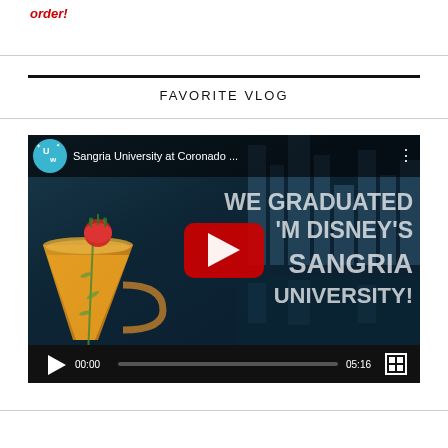order!
FAVORITE VLOG
[Figure (screenshot): Embedded YouTube video player showing 'Sangria University at Coronado ...' with thumbnail image of a sangria glass and text overlay 'WE GRADUATED FROM DISNEY'S SANGRIA UNIVERSITY!' with YouTube play button, timestamp 00:00, duration 05:16]